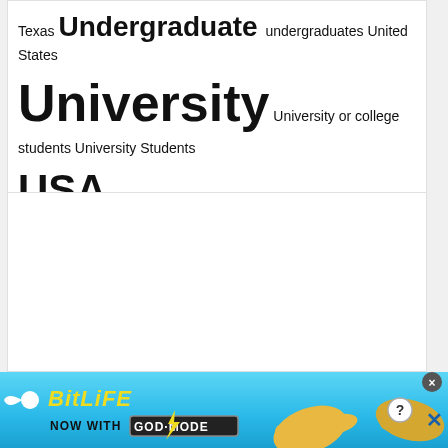Texas Undergraduate undergraduates United States University University or college students University Students USA Washington
[Figure (other): Empty white content box]
[Figure (illustration): BitLife advertisement banner: 'BitLife - NOW WITH GOD MODE' with sperm logo, yellow lightning bolt, and pointing hand illustrations on a blue gradient background. Has close (X) button and help (?) button in top right.]